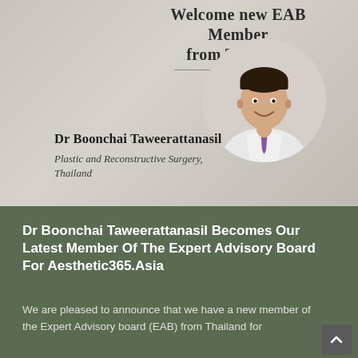Welcome new EAB Member from Thailand
[Figure (photo): Circular headshot photo of Dr Boonchai Taweerattanasil, a man in a white doctor's coat and purple tie, smiling]
Dr Boonchai Taweerattanasil
Plastic and Reconstructive Surgery, Thailand
Dr Boonchai Taweerattanasil Becomes Our Latest Member Of The Expert Advisory Board For Aesthetic365.Asia
We are pleased to announce that we have a new member of the Expert Advisory board (EAB) from Thailand for